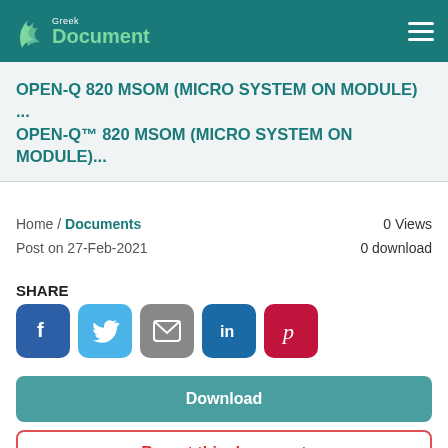Greek Document
OPEN-Q 820 MSOM (MICRO SYSTEM ON MODULE) ... OPEN-Q™ 820 MSOM (MICRO SYSTEM ON MODULE)...
Home / Documents
Post on 27-Feb-2021
0 Views
0 download
SHARE
[Figure (infographic): Social share buttons: Facebook (blue), Twitter (light blue), Email (grey), LinkedIn (dark blue), Pinterest (red)]
Download
Report this document